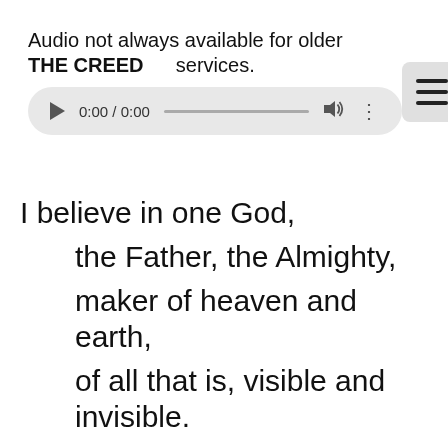Audio not always available for older services.
THE CREED
[Figure (screenshot): Audio player UI showing play button, time display 0:00 / 0:00, progress bar, volume icon, and more options icon]
I believe in one God,
    the Father, the Almighty,
    maker of heaven and earth,
    of all that is, visible and invisible.

I believe in one Lord, Jesus Christ,
    the only-begotten Son of God,